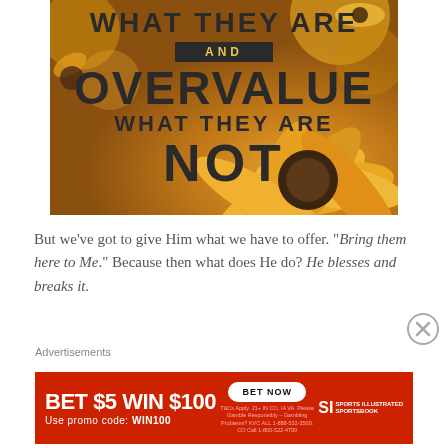[Figure (illustration): Inspirational quote image over a background of yellow/orange flowers with a black-eyed Susan in the foreground. Text reads: 'WHAT THEY ARE AND OVERVALUE WHAT THEY ARE NOT']
But we've got to give Him what we have to offer. "Bring them here to Me." Because then what does He do? He blesses and breaks it.
Advertisements
[Figure (infographic): Red advertisement banner: BET $5 WIN $100 / Use promo code: WIN100 / BET NOW button / SI Sports Illustrated Sportsbook logo / Fine print text]